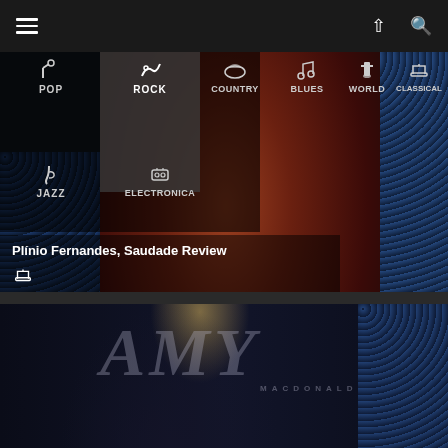[Figure (screenshot): Music app interface showing a top navigation bar with hamburger menu, up arrow, and search icon on dark background]
[Figure (screenshot): Genre navigation bar with icons and labels: POP, ROCK (active/highlighted), COUNTRY, BLUES, WORLD, CLASSICAL in top row; JAZZ, ELECTRONICA in second row, overlaid on a photo of a guitarist playing classical guitar against a red/warm background]
Plínio Fernandes, Saudade Review
[Figure (screenshot): Lower section showing a dark concert photo with text 'AMY MACDONALD' overlaid in large semi-transparent letters, with a woman performer visible and blue dotted texture on the right side]